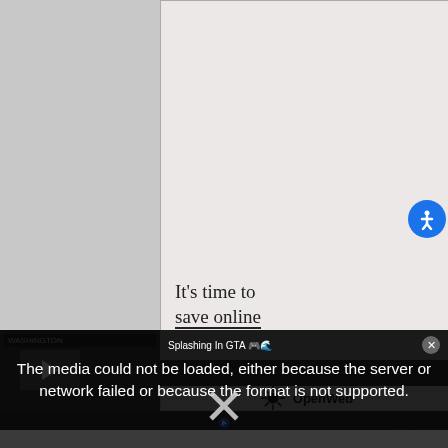[Figure (screenshot): Advertisement card with pinkish-beige background, partially showing text 'It's time to save online']
It's time to
save online
[Figure (screenshot): Video player error overlay showing: 'The media could not be loaded, either because the server or network failed or because the format is not supported.' with an X dismiss button and video title 'Splashing In GTA']
The media could not be loaded, either because the server or network failed or because the format is not supported.
Splashing In GTA 🎮🌊
[Figure (logo): OpenWeb logo with sunburst icon]
AdChoices ▷   Sponsored